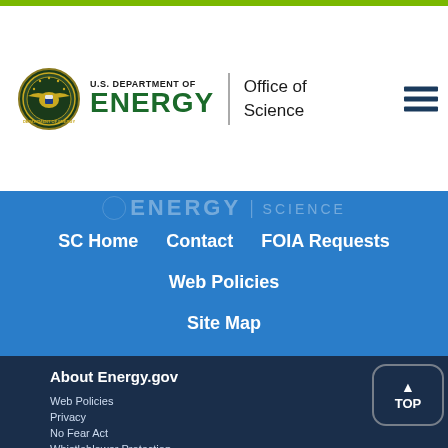U.S. DEPARTMENT OF ENERGY | Office of Science
SC Home
Contact
FOIA Requests
Web Policies
Site Map
About Energy.gov
Web Policies
Privacy
No Fear Act
Whistleblower Protection